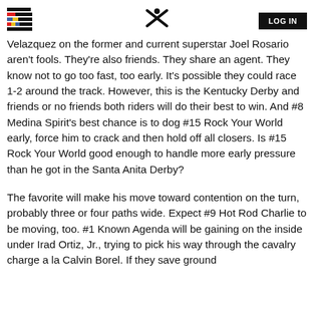LOG IN
Velazquez on the former and current superstar Joel Rosario aren't fools. They're also friends. They share an agent. They know not to go too fast, too early. It's possible they could race 1-2 around the track. However, this is the Kentucky Derby and friends or no friends both riders will do their best to win. And #8 Medina Spirit's best chance is to dog #15 Rock Your World early, force him to crack and then hold off all closers. Is #15 Rock Your World good enough to handle more early pressure than he got in the Santa Anita Derby?
The favorite will make his move toward contention on the turn, probably three or four paths wide. Expect #9 Hot Rod Charlie to be moving, too. #1 Known Agenda will be gaining on the inside under Irad Ortiz, Jr., trying to pick his way through the cavalry charge a la Calvin Borel. If they save ground